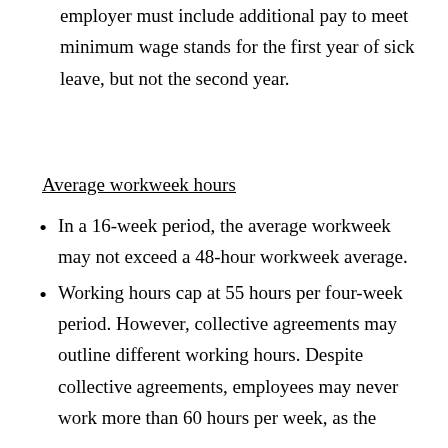employer must include additional pay to meet minimum wage stands for the first year of sick leave, but not the second year.
Average workweek hours
In a 16-week period, the average workweek may not exceed a 48-hour workweek average.
Working hours cap at 55 hours per four-week period. However, collective agreements may outline different working hours. Despite collective agreements, employees may never work more than 60 hours per week, as the